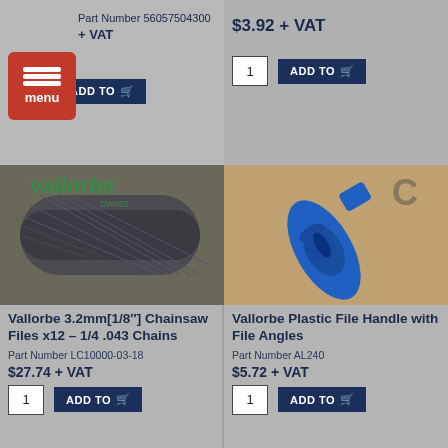Part Number 56057504300
$3.92 + VAT
[Figure (screenshot): Red menu button with three horizontal lines and 'menu' text]
+ VAT
[Figure (photo): Vallorbe Swiss chainsaw file close-up, dark metallic texture]
[Figure (photo): Blue plastic file handle with oval slot, Vallorbe brand]
Vallorbe 3.2mm[1/8"] Chainsaw Files x12 – 1/4 .043 Chains
Part Number LC10000-03-18
$27.74 + VAT
Vallorbe Plastic File Handle with File Angles
Part Number AL240
$5.72 + VAT